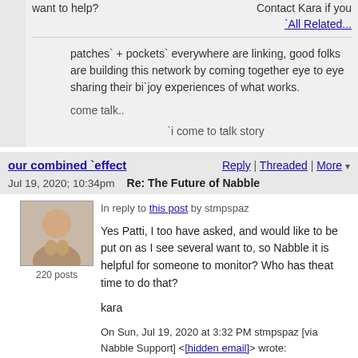Contact Kara if you want to help?
`All Related...
patches` + pockets` everywhere are linking, good folks are building this network by coming together eye to eye sharing their bi`joy experiences of what works.
come talk..
`i come to talk story
our combined `effect
Reply | Threaded | More
Jul 19, 2020; 10:34pm   Re: The Future of Nabble
In reply to this post by stmpspaz
Yes Patti, I too have asked, and would like to be put on as I see several want to, so Nabble it is helpful for someone to monitor? Who has theat time to do that?
kara
On Sun, Jul 19, 2020 at 3:32 PM stmpspaz [via Nabble Support] <[hidden email]> wrote:
There have been a few (including myself) that have